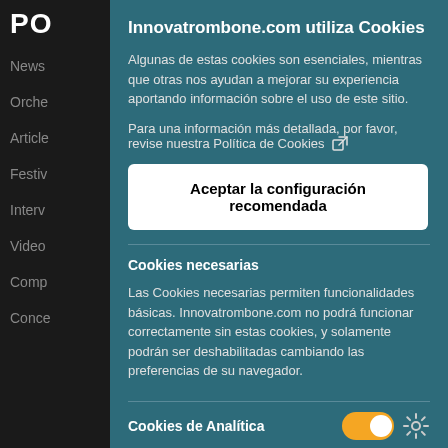PO
News
Orche
Article
Festiv
Interv
Video
Comp
Conce
Innovatrombone.com utiliza Cookies
Algunas de estas cookies son esenciales, mientras que otras nos ayudan a mejorar su experiencia aportando información sobre el uso de este sitio.
Para una información más detallada, por favor, revise nuestra Política de Cookies
Aceptar la configuración recomendada
Cookies necesarias
Las Cookies necesarias permiten funcionalidades básicas. Innovatrombone.com no podrá funcionar correctamente sin estas cookies, y solamente podrán ser deshabilitadas cambiando las preferencias de su navegador.
Cookies de Analítica